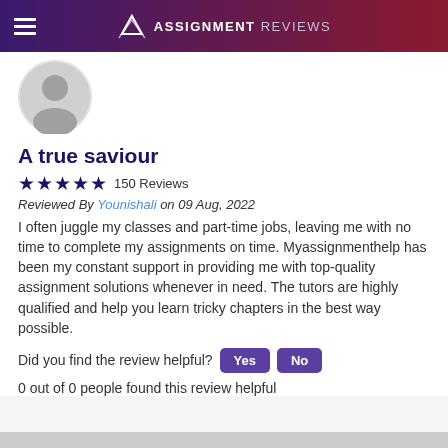ASSIGNMENT REVIEWS
[Figure (illustration): Gray circular avatar with generic person silhouette]
A true saviour
★★★★★ 150 Reviews
Reviewed By Younishali on 09 Aug, 2022
I often juggle my classes and part-time jobs, leaving me with no time to complete my assignments on time. Myassignmenthelp has been my constant support in providing me with top-quality assignment solutions whenever in need. The tutors are highly qualified and help you learn tricky chapters in the best way possible.
Did you find the review helpful? Yes No
0 out of 0 people found this review helpful